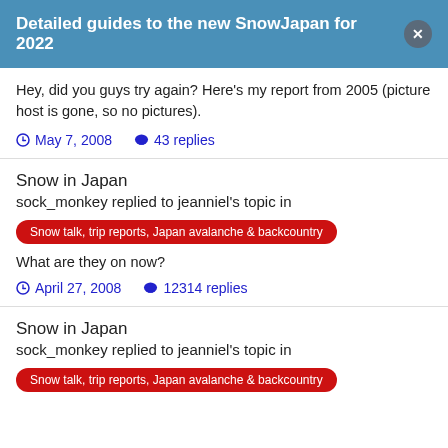Detailed guides to the new SnowJapan for 2022
Hey, did you guys try again? Here's my report from 2005 (picture host is gone, so no pictures).
May 7, 2008   43 replies
Snow in Japan
sock_monkey replied to jeanniel's topic in
Snow talk, trip reports, Japan avalanche & backcountry
What are they on now?
April 27, 2008   12314 replies
Snow in Japan
sock_monkey replied to jeanniel's topic in